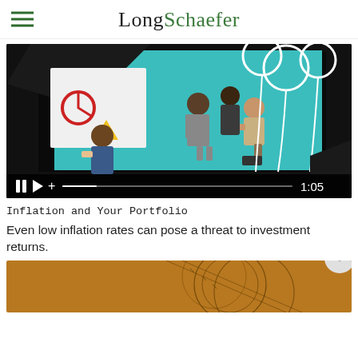LongSchaefer
[Figure (screenshot): Video thumbnail showing an animated scene of business people in a meeting room with balloons, and video player controls showing pause, play, plus, progress bar, and timestamp 1:05]
Inflation and Your Portfolio
Even low inflation rates can pose a threat to investment returns.
[Figure (photo): Partial image with dark golden/orange background showing geometric circular line patterns]